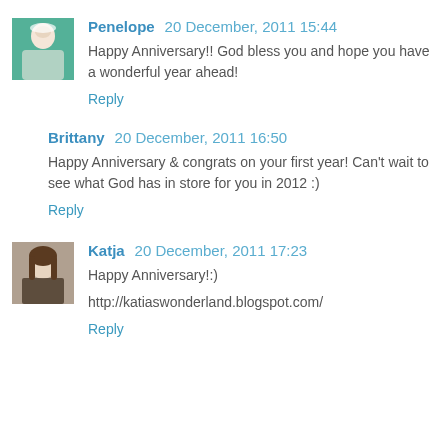Penelope 20 December, 2011 15:44
Happy Anniversary!! God bless you and hope you have a wonderful year ahead!
Reply
Brittany 20 December, 2011 16:50
Happy Anniversary & congrats on your first year! Can't wait to see what God has in store for you in 2012 :)
Reply
Katja 20 December, 2011 17:23
Happy Anniversary!:)
http://katiaswonderland.blogspot.com/
Reply